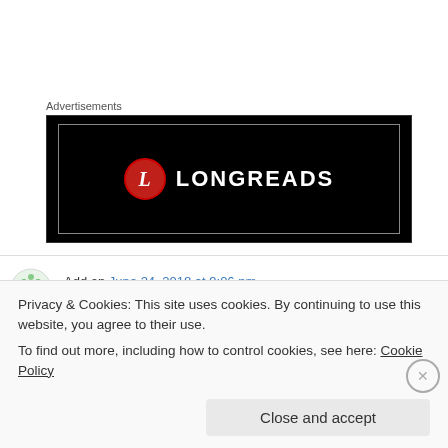Advertisements
[Figure (logo): LONGREADS logo on black background — red circle with white 'L' beside white bold text 'LONGREADS']
Add on June 24, 2018 at 9:06 pm
Hi
Privacy & Cookies: This site uses cookies. By continuing to use this website, you agree to their use.
To find out more, including how to control cookies, see here: Cookie Policy